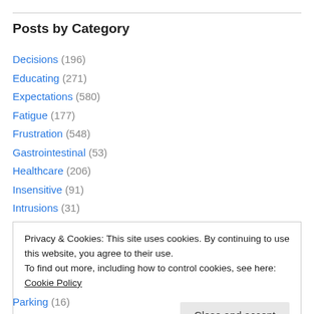Posts by Category
Decisions (196)
Educating (271)
Expectations (580)
Fatigue (177)
Frustration (548)
Gastrointestinal (53)
Healthcare (206)
Insensitive (91)
Intrusions (31)
Isolation (261)
Privacy & Cookies: This site uses cookies. By continuing to use this website, you agree to their use. To find out more, including how to control cookies, see here: Cookie Policy
Parking (16)